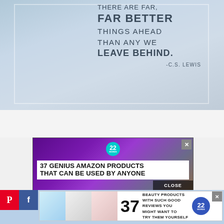[Figure (photo): Inspirational quote image over sky/clouds background: 'THERE ARE FAR, FAR BETTER THINGS AHEAD THAN ANY WE LEAVE BEHIND. -C.S. LEWIS']
[Figure (screenshot): Advertisement: '37 GENIUS AMAZON PRODUCTS THAT CAN BE USED BY ANYONE' with purple headphones image and 22 Words badge. Has a CLOSE button.]
[Figure (screenshot): Advertisement banner: '37 BEAUTY PRODUCTS WITH SUCH GOOD REVIEWS YOU MIGHT WANT TO TRY THEM YOURSELF' with product images, large '37' number, and 22 Words badge. Pinterest and Facebook icons on left.]
[Figure (photo): Partial blue sky/water photo visible at bottom of page.]